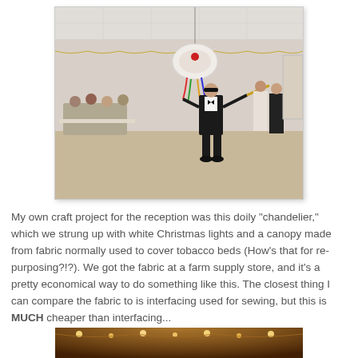[Figure (photo): A person in formal wear (tuxedo) blindfolded, swinging a stick at a doily chandelier piñata hanging from the ceiling in a decorated reception hall with string lights and seated guests]
My own craft project for the reception was this doily "chandelier," which we strung up with white Christmas lights and a canopy made from fabric normally used to cover tobacco beds (How's that for re-purposing?!?). We got the fabric at a farm supply store, and it's a pretty economical way to do something like this. The closest thing I can compare the fabric to is interfacing used for sewing, but this is MUCH cheaper than interfacing...
[Figure (photo): Partial view of a warmly lit reception hall ceiling with string lights visible, photo cropped at bottom of page]